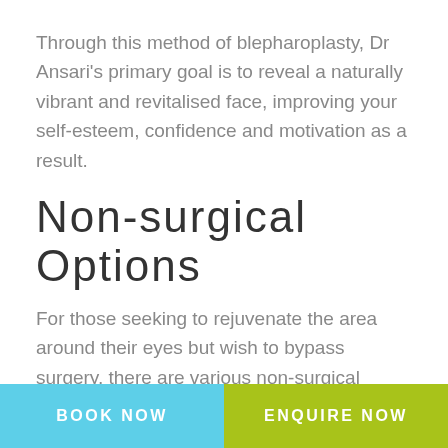Through this method of blepharoplasty, Dr Ansari's primary goal is to reveal a naturally vibrant and revitalised face, improving your self-esteem, confidence and motivation as a result.
Non-surgical Options
For those seeking to rejuvenate the area around their eyes but wish to bypass surgery, there are various non-surgical approaches available.
Dermal fillers are an excellent, non-surgical method used to treat tear troughs and dark circles underneath
BOOK NOW | ENQUIRE NOW